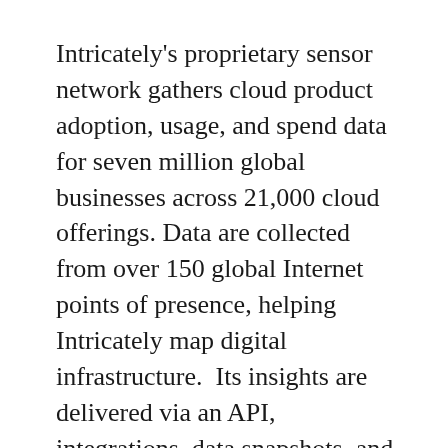Intricately's proprietary sensor network gathers cloud product adoption, usage, and spend data for seven million global businesses across 21,000 cloud offerings. Data are collected from over 150 global Internet points of presence, helping Intricately map digital infrastructure.  Its insights are delivered via an API, integrations, data snapshots, and web applications.
“Intricately provides unique and actionable insights that enable cloud sellers to increase velocity by focusing on the highest potential opportunities,” said Pollack.  “As the workforces of global companies become increasingly distributed, cloud spend and